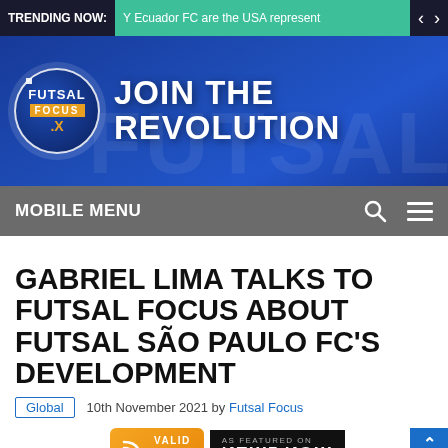TRENDING NOW: Y Ecuador FC are the USA represent
[Figure (logo): Futsal Focus website header banner with circular logo and JOIN THE REVOLUTION text]
MOBILE MENU
GABRIEL LIMA TALKS TO FUTSAL FOCUS ABOUT FUTSAL SÃO PAULO FC'S DEVELOPMENT
Global  10th November 2021 by Futsal Focus
[Figure (other): Valid RSS badge and News Now featured badge with scroll buttons]